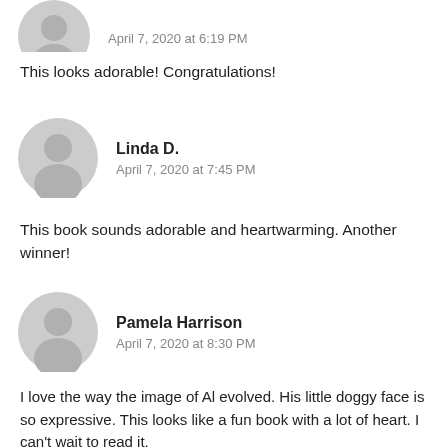[Figure (illustration): Gray avatar icon (person silhouette) for first commenter (partially cropped at top)]
April 7, 2020 at 6:19 PM
This looks adorable! Congratulations!
[Figure (illustration): Gray avatar icon (person silhouette) for Linda D.]
Linda D.
April 7, 2020 at 7:45 PM
This book sounds adorable and heartwarming. Another winner!
[Figure (illustration): Gray avatar icon (person silhouette) for Pamela Harrison]
Pamela Harrison
April 7, 2020 at 8:30 PM
I love the way the image of Al evolved. His little doggy face is so expressive. This looks like a fun book with a lot of heart. I can't wait to read it.